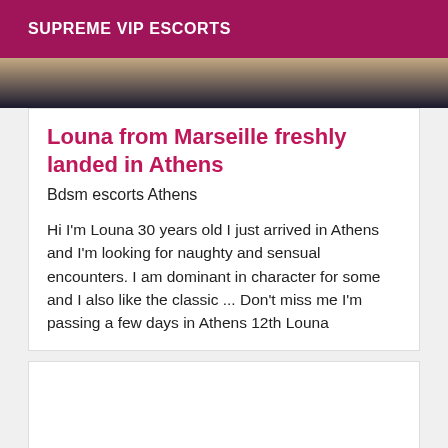SUPREME VIP ESCORTS
[Figure (photo): Partial photo of a person, cropped, dark background]
Louna from Marseille freshly landed in Athens
Bdsm escorts Athens
Hi I'm Louna 30 years old I just arrived in Athens and I'm looking for naughty and sensual encounters. I am dominant in character for some and I also like the classic ... Don't miss me I'm passing a few days in Athens 12th Louna
[Figure (other): Empty white card placeholder]